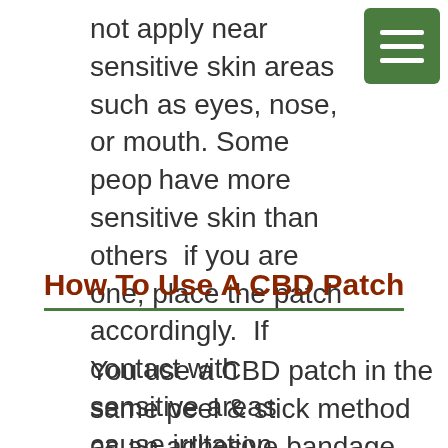not apply near sensitive skin areas such as eyes, nose, or mouth. Some people have more sensitive skin than others; if you are one, place the patch accordingly.  If contact with sensitive areas cause irritation, remove the patch and rinse with a salt & water solution.
How To Use A CBD Patch
You use a CBD patch in the same peel & stick method as an adhesive bandage. Simple.  For those of you who have used nicotine patches to help quit smoking